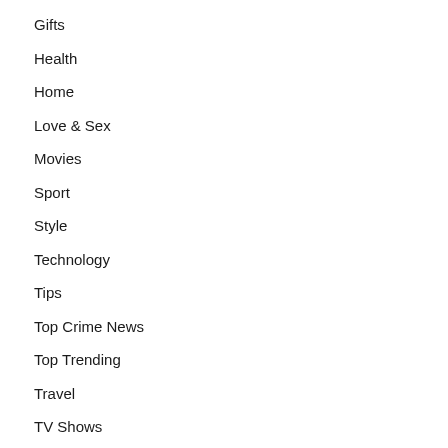Gifts
Health
Home
Love & Sex
Movies
Sport
Style
Technology
Tips
Top Crime News
Top Trending
Travel
TV Shows